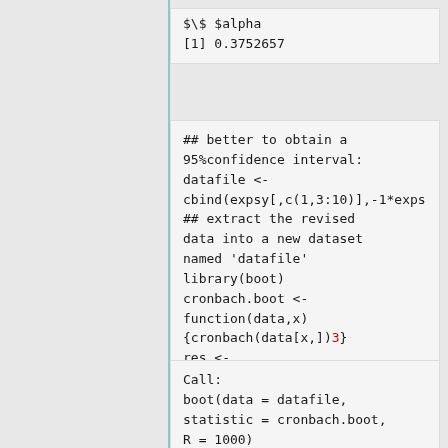$\$ $alpha
[1] 0.3752657
## better to obtain a 95%confidence interval:
datafile <- cbind(expsy[,c(1,3:10)],-1*exps
## extract the revised data into a new dataset named 'datafile'
library(boot)
cronbach.boot <- function(data,x) {cronbach(data[x,])3}
res <- boot(datafile,cronbach.boot,1000
res
Call:
boot(data = datafile, statistic = cronbach.boot, R = 1000)